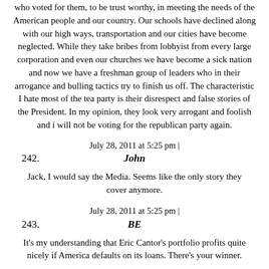who voted for them, to be trust worthy, in meeting the needs of the American people and our country. Our schools have declined along with our high ways, transportation and our cities have become neglected. While they take bribes from lobbyist from every large corporation and even our churches we have become a sick nation and now we have a freshman group of leaders who in their arrogance and bulling tactics try to finish us off. The characteristic I hate most of the tea party is their disrespect and false stories of the President. In my opinion, they look very arrogant and foolish and i will not be voting for the republican party again.
July 28, 2011 at 5:25 pm |
242. John
Jack, I would say the Media. Seems like the only story they cover anymore.
July 28, 2011 at 5:25 pm |
243. BE
It's my understanding that Eric Cantor's portfolio profits quite nicely if America defaults on its loans. There's your winner.
July 28, 2011 at 5:25 pm |